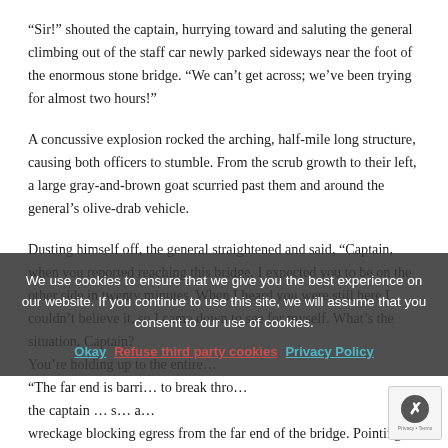“Sir!” shouted the captain, hurrying toward and saluting the general climbing out of the staff car newly parked sideways near the foot of the enormous stone bridge. “We can’t get across; we’ve been trying for almost two hours!”
A concussive explosion rocked the arching, half-mile long structure, causing both officers to stumble. From the scrub growth to their left, a large gray-and-brown goat scurried past them and around the general’s olive-drab vehicle.
Dusting himself off, the general straightened and said, “Captain, when you reported reaching this bridge, I expected you to be on the other side in twenty minutes. When I heard you were still here I couldn’t believe it, so I came down to see for myself. What’s the situation, Captain? You’re holding up the entire…
“The far end is barri… to break thro… the captain … s… a… wreckage blocking egress from the far end of the bridge. Pointing to the
We use cookies to ensure that we give you the best experience on our website. If you continue to use this site, we will assume that you consent to our use of cookies.
Okay  Refuse third party cookies  Privacy Policy